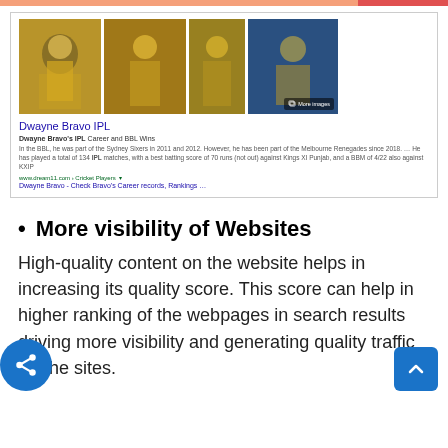[Figure (screenshot): Google search result screenshot showing Dwayne Bravo IPL with cricket player images in yellow jerseys, search snippet text about BBL and IPL career, and a link to dream11.com]
More visibility of Websites
High-quality content on the website helps in increasing its quality score. This score can help in higher ranking of the webpages in search results driving more visibility and generating quality traffic for the sites.